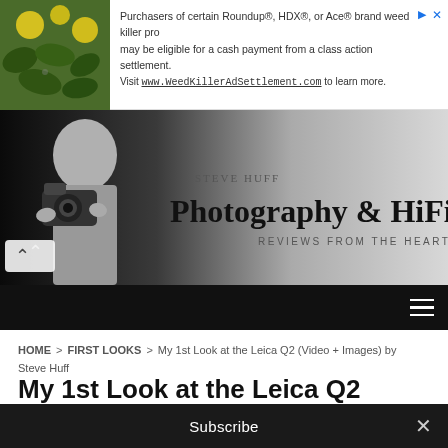[Figure (screenshot): Advertisement banner for WeedKillerAdSettlement.com with a floral/plant image on the left and text about Roundup, HDX, or Ace brand weed killer class action settlement]
[Figure (photo): Steve Huff Photography & HiFi website header - black and white photo of a bald man holding a Leica camera with site name overlay]
HOME > FIRST LOOKS > My 1st Look at the Leica Q2 (Video + Images) by Steve Huff
My 1st Look at the Leica Q2 (Video + Images) by Steve Huff
Subscribe